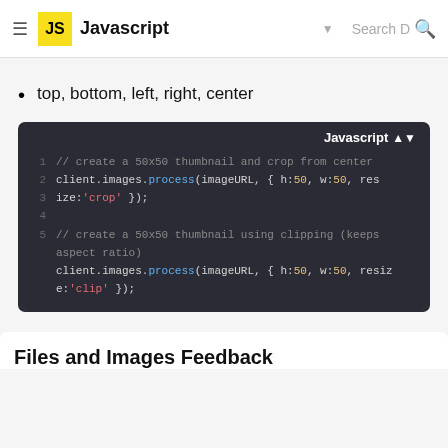Javascript
top, bottom, left, right, center
[Figure (screenshot): Dark-themed JavaScript code block showing two examples: creating a 50x50 thumbnail cropped from center, and creating a 50x50 thumbnail using clipping (keeps aspect ratio). Code uses client.images.process() calls with imageURL, h:50, w:50, and resize:'crop' or resize:'clip' parameters.]
Files and Images Feedback